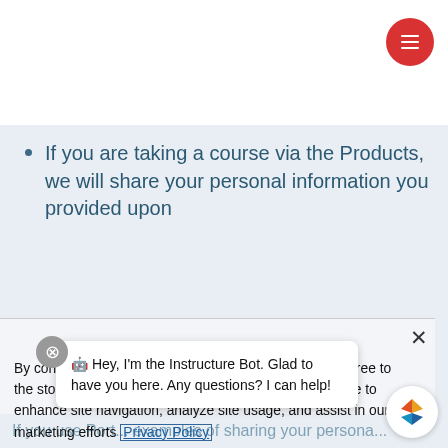[Figure (screenshot): Red circular hamburger menu button in top right corner]
If you are taking a course via the Products, we will share your personal information you provided upon
[Figure (screenshot): Cookie consent dialog overlay with close button, consent text, Privacy Policy link, and I Accept button]
By continuing to browse or by clicking "I Accept", you agree to the storing of first- and third-party cookies on your device to enhance site navigation, analyze site usage, and assist in our marketing efforts Privacy Policy
[Figure (screenshot): Instructure Bot chat bubble: Hey, I'm the Instructure Bot. Glad to have you here. Any questions? I can help!]
🤖 Hey, I'm the Instructure Bot. Glad to have you here. Any questions? I can help!
If you use Port... examples of sharing your persona...